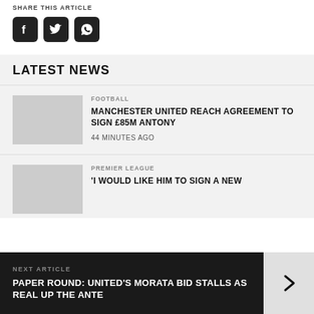SHARE THIS ARTICLE
[Figure (other): Social share icons: Facebook, Twitter, WhatsApp]
LATEST NEWS
FOOTBALL
MANCHESTER UNITED REACH AGREEMENT TO SIGN £85M ANTONY
44 MINUTES AGO
PREMIER LEAGUE
'I WOULD LIKE HIM TO SIGN A NEW
NEXT ARTICLE
PAPER ROUND: UNITED'S MORATA BID STALLS AS REAL UP THE ANTE